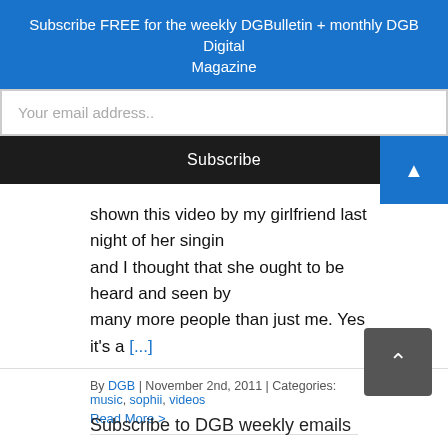Subscribe FREE for the weekly DGBulletin + monthly DGB Digital Magazine
[Figure (screenshot): Email input field with placeholder 'Your email address..']
[Figure (screenshot): Subscribe button (dark/black background)]
shown this video by my girlfriend last night of her singin and I thought that she ought to be heard and seen by many more people than just me. Yes it's a [...]
By DGB | November 2nd, 2011 | Categories: music, sophii, videos
Read More >
Subscribe to DGB weekly emails